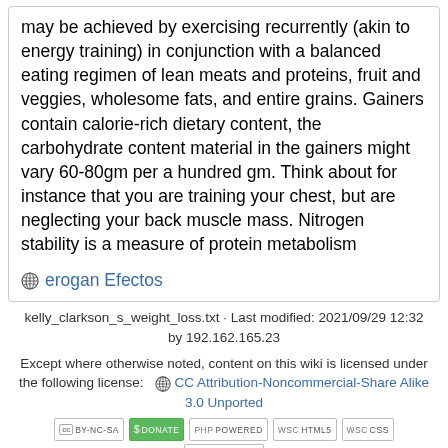may be achieved by exercising recurrently (akin to energy training) in conjunction with a balanced eating regimen of lean meats and proteins, fruit and veggies, wholesome fats, and entire grains. Gainers contain calorie-rich dietary content, the carbohydrate content material in the gainers might vary 60-80gm per a hundred gm. Think about for instance that you are training your chest, but are neglecting your back muscle mass. Nitrogen stability is a measure of protein metabolism
erogan Efectos
kelly_clarkson_s_weight_loss.txt · Last modified: 2021/09/29 12:32 by 192.162.165.23
Except where otherwise noted, content on this wiki is licensed under the following license: CC Attribution-Noncommercial-Share Alike 3.0 Unported